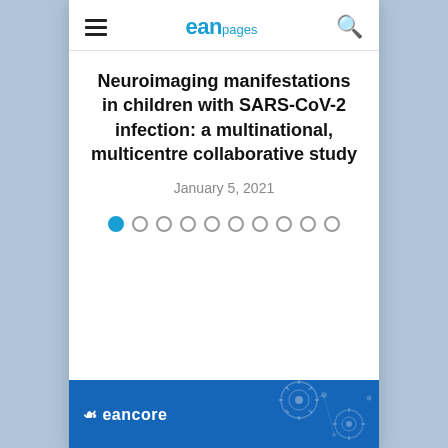eanpages
Neuroimaging manifestations in children with SARS-CoV-2 infection: a multinational, multicentre collaborative study
January 5, 2021
[Figure (other): Pagination dots: 10 dots, first dot filled blue, rest are empty circles]
[Figure (other): EANcore blue banner with logo text and decorative molecular/virus illustrations]